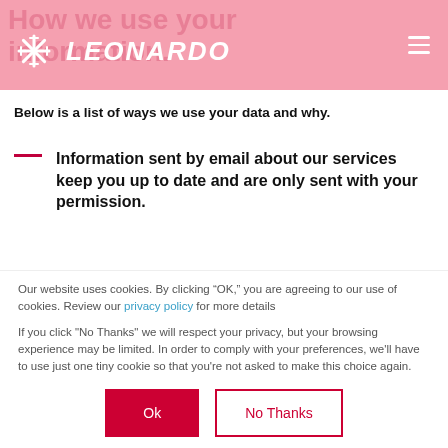[Figure (logo): Leonardo company logo with starburst icon and italic text 'LEONARDO' on pink background header]
Below is a list of ways we use your data and why.
Information sent by email about our services keep you up to date and are only sent with your permission.
Our website uses cookies. By clicking “OK,” you are agreeing to our use of cookies. Review our privacy policy for more details
If you click "No Thanks" we will respect your privacy, but your browsing experience may be limited. In order to comply with your preferences, we'll have to use just one tiny cookie so that you're not asked to make this choice again.